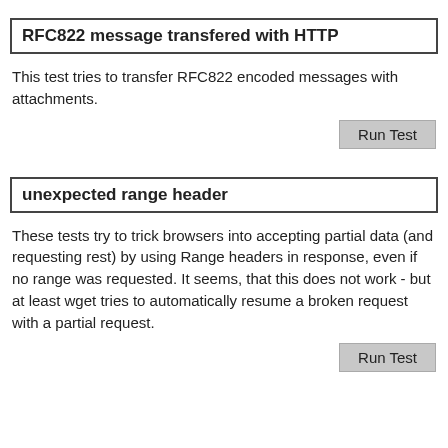RFC822 message transfered with HTTP
This test tries to transfer RFC822 encoded messages with attachments.
Run Test
unexpected range header
These tests try to trick browsers into accepting partial data (and requesting rest) by using Range headers in response, even if no range was requested. It seems, that this does not work - but at least wget tries to automatically resume a broken request with a partial request.
Run Test